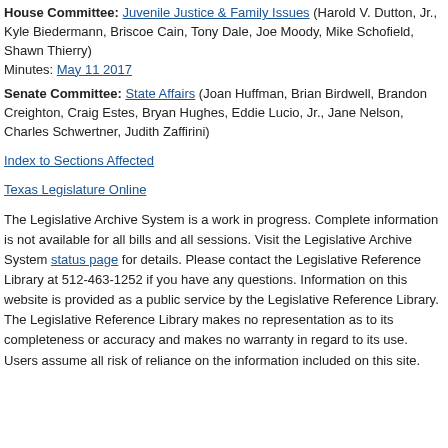House Committee: Juvenile Justice & Family Issues (Harold V. Dutton, Jr., Kyle Biedermann, Briscoe Cain, Tony Dale, Joe Moody, Mike Schofield, Shawn Thierry) Minutes: May 11 2017
Senate Committee: State Affairs (Joan Huffman, Brian Birdwell, Brandon Creighton, Craig Estes, Bryan Hughes, Eddie Lucio, Jr., Jane Nelson, Charles Schwertner, Judith Zaffirini)
Index to Sections Affected
Texas Legislature Online
The Legislative Archive System is a work in progress. Complete information is not available for all bills and all sessions. Visit the Legislative Archive System status page for details. Please contact the Legislative Reference Library at 512-463-1252 if you have any questions. Information on this website is provided as a public service by the Legislative Reference Library. The Legislative Reference Library makes no representation as to its completeness or accuracy and makes no warranty in regard to its use. Users assume all risk of reliance on the information included on this site.